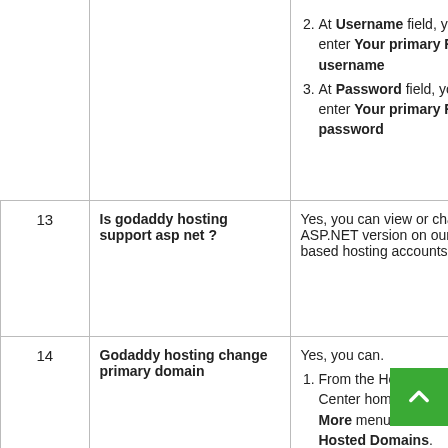| # | Question | Answer |
| --- | --- | --- |
|  |  | 2. At Username field, y… enter Your primary F… username
3. At Password field, yo… enter Your primary F… password |
| 13 | Is godaddy hosting support asp net ? | Yes, you can view or cha… ASP.NET version on our W… based hosting accounts. |
| 14 | Godaddy hosting change primary domain | Yes, you can.
1. From the Hosting Co… Center home page, c… More menu and the… Hosted Domains.
2. Select your pr… domain, and t… Primary.
3. Enter the… |